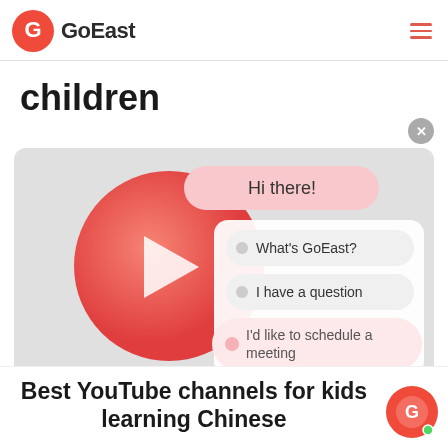GoEast
children
[Figure (screenshot): Screenshot of a chat widget overlay on a video thumbnail. The thumbnail shows the GoEast logo (red play button style icon) on a gray background. A chat popup shows the message 'Hi there!' and three response options: 'What's GoEast?', 'I have a question', 'I'd like to schedule a meeting'.]
Best YouTube channels for kids learning Chinese